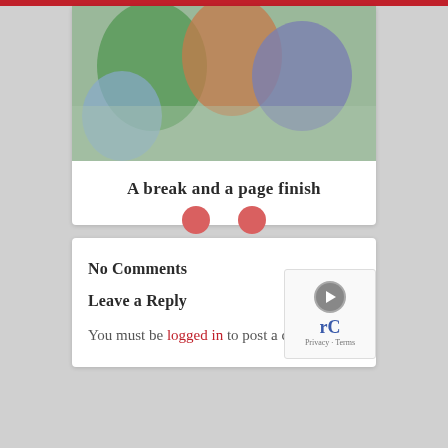[Figure (photo): Partial view of colorful stuffed animals or costumed figures]
A break and a page finish
[Figure (other): Navigation dots: two pink/red circular dots indicating pagination]
No Comments
Leave a Reply
You must be logged in to post a comment.